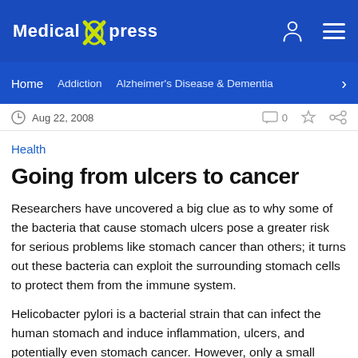Medical Xpress
Home   Addiction   Alzheimer's Disease & Dementia
Aug 22, 2008   0
Health
Going from ulcers to cancer
Researchers have uncovered a big clue as to why some of the bacteria that cause stomach ulcers pose a greater risk for serious problems like stomach cancer than others; it turns out these bacteria can exploit the surrounding stomach cells to protect them from the immune system.
Helicobacter pylori is a bacterial strain that can infect the human stomach and induce inflammation, ulcers, and potentially even stomach cancer. However, only a small fraction of H. pylori infections ultimately lead to cancer.